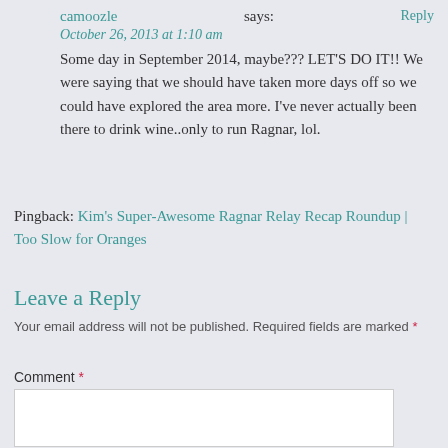camoozle says: Reply
October 26, 2013 at 1:10 am
Some day in September 2014, maybe??? LET'S DO IT!! We were saying that we should have taken more days off so we could have explored the area more. I've never actually been there to drink wine..only to run Ragnar, lol.
Pingback: Kim's Super-Awesome Ragnar Relay Recap Roundup | Too Slow for Oranges
Leave a Reply
Your email address will not be published. Required fields are marked *
Comment *